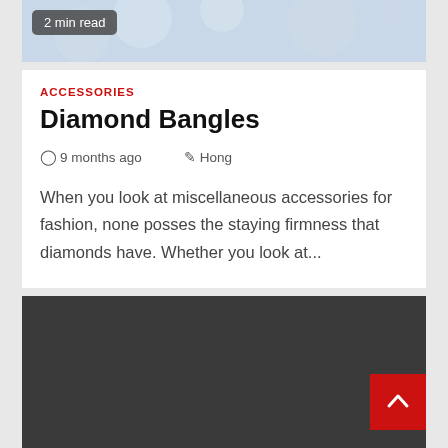[Figure (photo): Top banner image with light blue/grey texture background, partially visible]
2 min read
ACCESSORIES
Diamond Bangles
9 months ago  Hong
When you look at miscellaneous accessories for fashion, none posses the staying firmness that diamonds have. Whether you look at...
[Figure (photo): Dark grey/charcoal background area at the bottom of the page, likely a footer or secondary image area]
[Figure (other): Red scroll-to-top button with white chevron/arrow pointing upward]